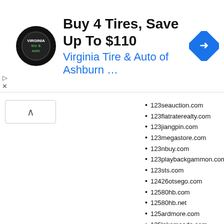[Figure (other): Advertisement banner for Virginia Tire & Auto of Ashburn with logo and navigation arrow icon. Headline: Buy 4 Tires, Save Up To $110. Subtext: Virginia Tire & Auto of Ashburn …]
123seauction.com
123flatraterealty.com
123jiangpin.com
123megastore.com
123nbuy.com
123playbackgammon.com
123sts.com
12426otsego.com
12580hb.com
12580hb.net
125ardmore.com
125lakemeade.com
127hours.net
1283eaglecrescent.com
12eklofcourt.com
12hourmassage.net
12meeting.com
12r4js6jss.com
12seiza.com
12sisterscafe.com
12stepsingles.com
12v-led-lights-direct.com
13tuxin.com